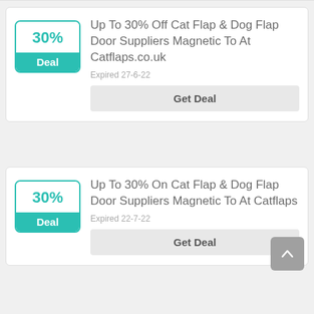[Figure (other): Deal badge showing 30% with teal 'Deal' label]
Up To 30% Off Cat Flap & Dog Flap Door Suppliers Magnetic To At Catflaps.co.uk
Expired 27-6-22
Get Deal
[Figure (other): Deal badge showing 30% with teal 'Deal' label]
Up To 30% On Cat Flap & Dog Flap Door Suppliers Magnetic To At Catflaps
Expired 22-7-22
Get Deal